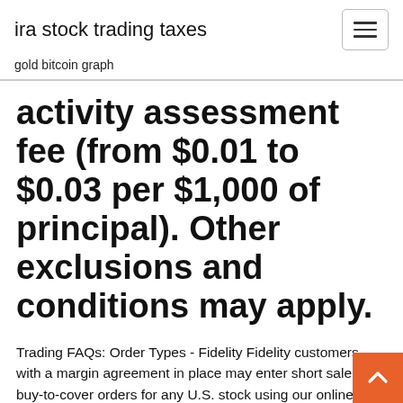ira stock trading taxes
gold bitcoin graph
activity assessment fee (from $0.01 to $0.03 per $1,000 of principal). Other exclusions and conditions may apply.
Trading FAQs: Order Types - Fidelity Fidelity customers with a margin agreement in place may enter short sale and buy-to-cover orders for any U.S. stock using our online trading platform. All short sale orders are subject to the availability of the stock being sold, which must be confirmed by our stock loan department prior to the order being entered. Potential uses of short selling: 6 Best Online Stock Brokers for Beginners